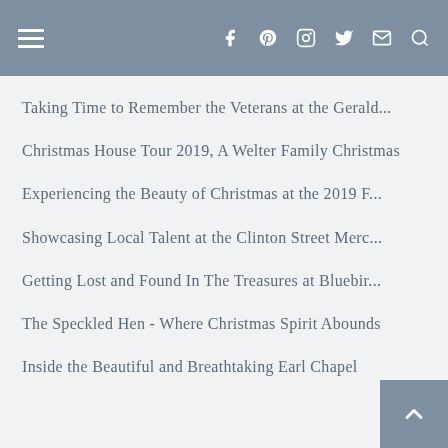≡  f  p  ○  ❤  ✉  🔍
Taking Time to Remember the Veterans at the Gerald...
Christmas House Tour 2019, A Welter Family Christmas
Experiencing the Beauty of Christmas at the 2019 F...
Showcasing Local Talent at the Clinton Street Merc...
Getting Lost and Found In The Treasures at Bluebir...
The Speckled Hen - Where Christmas Spirit Abounds
Inside the Beautiful and Breathtaking Earl Chapel